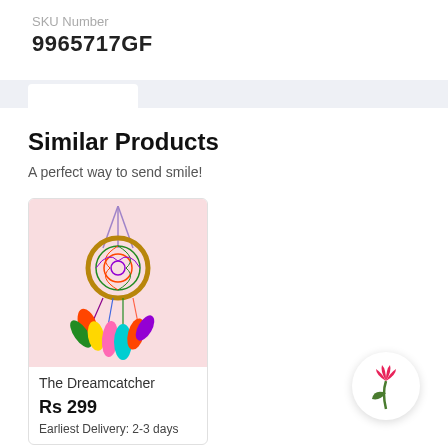SKU Number
9965717GF
Similar Products
A perfect way to send smile!
[Figure (photo): A colorful dreamcatcher with feathers hanging on a pink background]
The Dreamcatcher
Rs 299
Earliest Delivery: 2-3 days
[Figure (logo): Flower delivery service logo: a pink tulip with a green leaf on a white circular background]